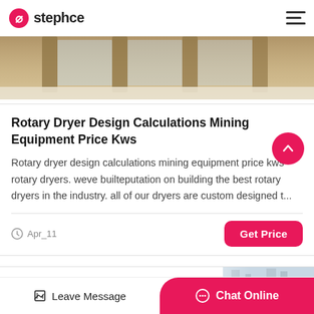stephce
[Figure (photo): Photograph of industrial building interior with concrete pillars and sandy/light-colored floor, viewed from outside]
Rotary Dryer Design Calculations Mining Equipment Price Kws
Rotary dryer design calculations mining equipment price kws rotary dryers. weve builteputation on building the best rotary dryers in the industry. all of our dryers are custom designed t...
Apr_11
[Figure (photo): Partial view of second article card with small industrial image on right side]